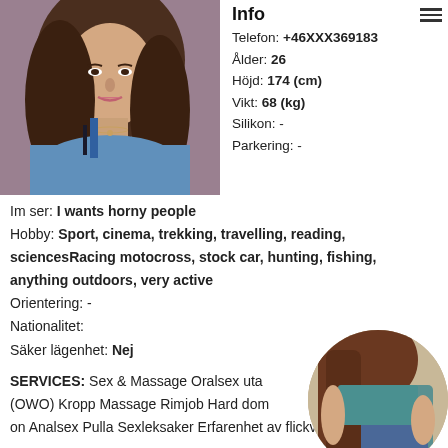[Figure (photo): Portrait photo of a young woman with long brown hair wearing a blue tank top]
Info
Telefon: +46XXX369183
Ålder: 26
Höjd: 174 (cm)
Vikt: 68 (kg)
Silikon: -
Parkering: -
Im ser: I wants horny people
Hobby: Sport, cinema, trekking, travelling, reading, sciencesRacing motocross, stock car, hunting, fishing, anything outdoors, very active
Orientering: -
Nationalitet:
Säker lägenhet: Nej
SERVICES: Sex & Massage Oralsex uta (OWO) Kropp Massage Rimjob Hard dom on Analsex Pulla Sexleksaker Erfarenhet av flickvän
[Figure (photo): Circular cropped photo of a young woman from behind wearing a teal top and denim shorts]